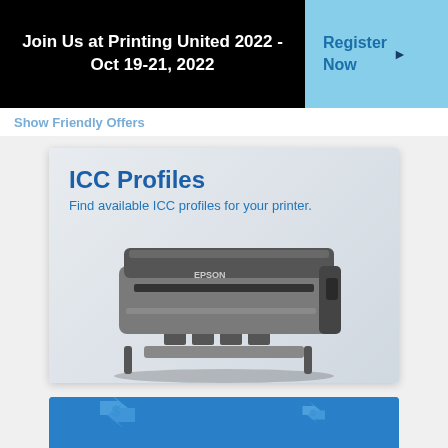Join Us at Printing United 2022 - Oct 19-21, 2022
Register Now
Show Friendly Offers
[Figure (illustration): ICC Profiles promotional card showing an Epson wide-format printer. Title reads 'ICC Profiles'. Subtitle reads 'Find available ICC profiles for your printer.']
[Figure (illustration): Blue promotional banner with dollar sign recycling/exchange arrow icons, partially visible at bottom of page.]